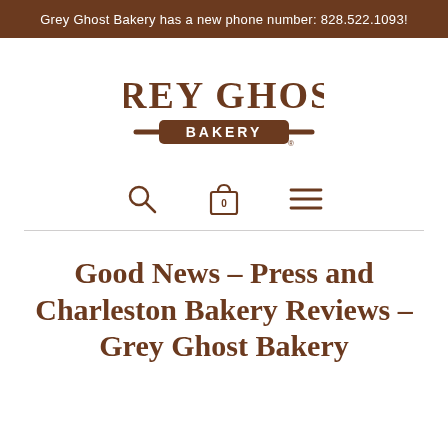Grey Ghost Bakery has a new phone number: 828.522.1093!
[Figure (logo): Grey Ghost Bakery logo with large stylized text 'GREY GHOST' and a rolling pin banner beneath with 'BAKERY']
[Figure (infographic): Navigation icons: search magnifying glass, shopping bag with '0', and hamburger menu lines]
Good News – Press and Charleston Bakery Reviews – Grey Ghost Bakery